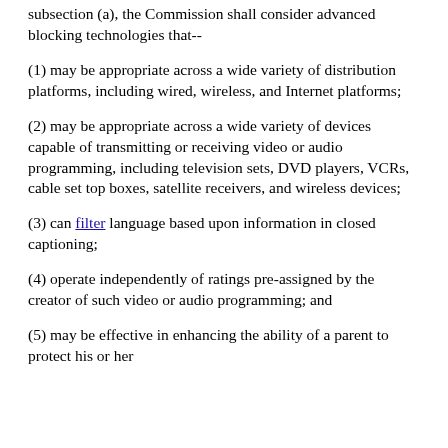subsection (a), the Commission shall consider advanced blocking technologies that--
(1) may be appropriate across a wide variety of distribution platforms, including wired, wireless, and Internet platforms;
(2) may be appropriate across a wide variety of devices capable of transmitting or receiving video or audio programming, including television sets, DVD players, VCRs, cable set top boxes, satellite receivers, and wireless devices;
(3) can filter language based upon information in closed captioning;
(4) operate independently of ratings pre-assigned by the creator of such video or audio programming; and
(5) may be effective in enhancing the ability of a parent to protect his or her